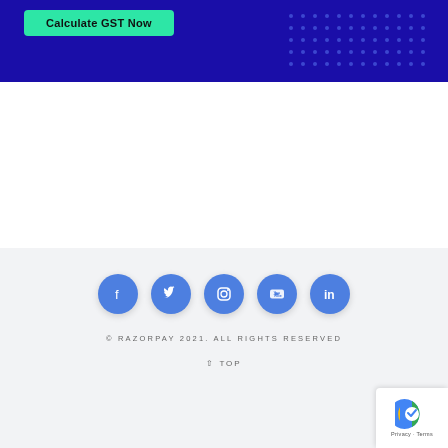[Figure (screenshot): Dark navy blue banner with a green 'Calculate GST Now' button on the left and a dotted pattern on the right]
[Figure (infographic): Row of five blue circular social media icons: Facebook, Twitter, Instagram, YouTube, LinkedIn]
© RAZORPAY 2021. ALL RIGHTS RESERVED
↑ TOP